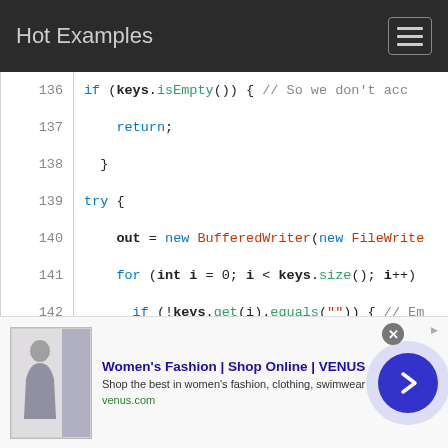Hot Examples
[Figure (screenshot): Code viewer showing Java source lines 136-150 with syntax highlighting. Line 143 is highlighted in green. Code shows file writing logic with BufferedWriter, keys iteration, and IOException catch.]
[Figure (infographic): Advertisement banner: Women's Fashion | Shop Online | VENUS. Shop the best in women's fashion, clothing, swimwear. venus.com]